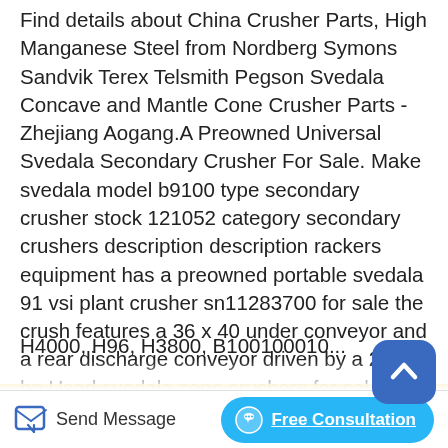Find details about China Crusher Parts, High Manganese Steel from Nordberg Symons Sandvik Terex Telsmith Pegson Svedala Concave and Mantle Cone Crusher Parts - Zhejiang Aogang.A Preowned Universal Svedala Secondary Crusher For Sale. Make svedala model b9100 type secondary crusher stock 121052 category secondary crushers description description rackers equipment has a preowned portable svedala 91 vsi plant crusher sn11283700 for sale the crush features a 36 x 40 under conveyor and a rear discharge conveyor driven by a 25 hp.Used svedala cone crushers for sale. Browse our inventory of new and used SVEDALA Crusher Aggregate Equipment For Sale near you at Models include H4000, H96, H3800, B100100010...
[Figure (other): Scroll-to-top button: dark blue rounded square with a white upward chevron/arrow icon]
[Figure (other): Bottom action bar with 'Send Message' button (pencil/message icon) on the left and 'Free Consultation' button (blue pill shape with headset icon) on the right]